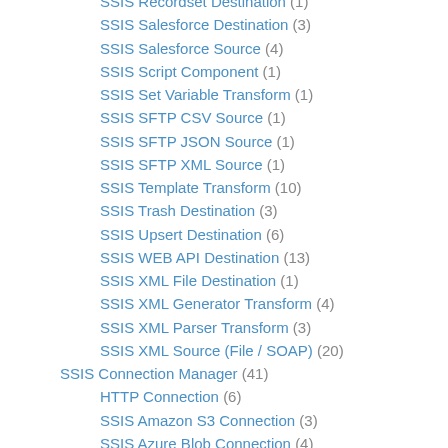SSIS Recordset Destination (1)
SSIS Salesforce Destination (3)
SSIS Salesforce Source (4)
SSIS Script Component (1)
SSIS Set Variable Transform (1)
SSIS SFTP CSV Source (1)
SSIS SFTP JSON Source (1)
SSIS SFTP XML Source (1)
SSIS Template Transform (10)
SSIS Trash Destination (3)
SSIS Upsert Destination (6)
SSIS WEB API Destination (13)
SSIS XML File Destination (1)
SSIS XML Generator Transform (4)
SSIS XML Parser Transform (3)
SSIS XML Source (File / SOAP) (20)
SSIS Connection Manager (41)
HTTP Connection (6)
SSIS Amazon S3 Connection (3)
SSIS Azure Blob Connection (4)
SSIS Dynamics CRM Connection (1)
SSIS Excel Connection (2)
SSIS MongoDB Connection (1)